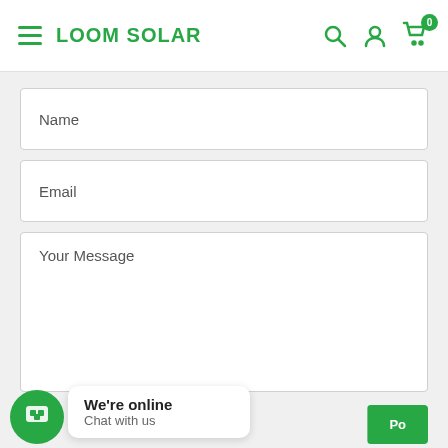LOOM SOLAR
Name
Email
Your Message
We're online
Chat with us